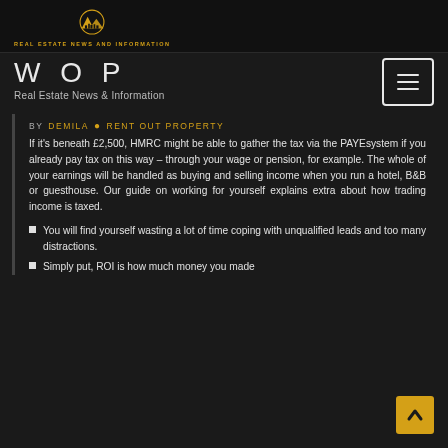[Figure (logo): Real Estate News and Information logo with golden building/mountain icon and text 'REAL ESTATE NEWS AND INFORMATION']
WOP
Real Estate News & Information
BY DEMILA • RENT OUT PROPERTY
If it's beneath £2,500, HMRC might be able to gather the tax via the PAYEsystem if you already pay tax on this way – through your wage or pension, for example. The whole of your earnings will be handled as buying and selling income when you run a hotel, B&B or guesthouse. Our guide on working for yourself explains extra about how trading income is taxed.
You will find yourself wasting a lot of time coping with unqualified leads and too many distractions.
Simply put, ROI is how much money you made